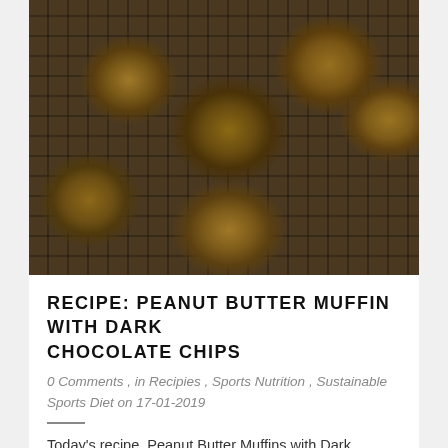[Figure (photo): Peanut butter muffins with dark chocolate chips cooling on a wire rack, viewed from above. Multiple muffins in paper liners visible, showing golden-brown tops with visible chocolate chips embedded throughout.]
RECIPE: PEANUT BUTTER MUFFIN WITH DARK CHOCOLATE CHIPS
0 Comments , in Recipies , Sports Nutrition , Sustainable Sports Diet on 17-01-2019
Today's recipe, Peanut Butter Muffins with Dark Chocolate Chips is courtesy of Kate Scarlata RD, author The Low FODMAP Diet Step by Step. The...